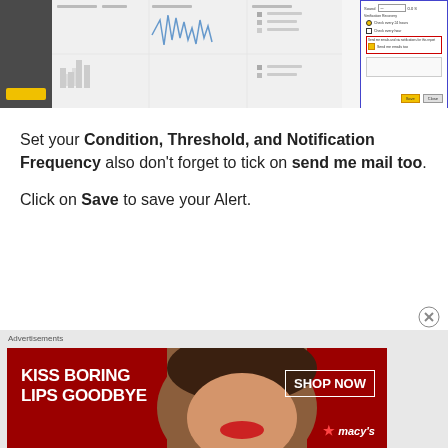[Figure (screenshot): Screenshot of a web application interface showing charts/graphs panel on the left and a notification alert dialog on the right with fields for Condition, Threshold, Notification Frequency, a 'Send me email too' checkbox, and Save/Cancel buttons. The alert dialog has a red border highlight around the send email checkbox area.]
Set your Condition, Threshold, and Notification Frequency also don't forget to tick on send me mail too.
Click on Save to save your Alert.
Receiving alerts:
[Figure (photo): Macy's advertisement banner with red background. Text reads: KISS BORING LIPS GOODBYE with SHOP NOW button and Macy's star logo.]